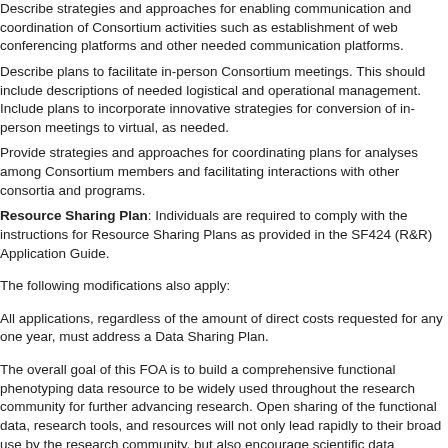Describe strategies and approaches for enabling communication and coordination of Consortium activities such as establishment of web conferencing platforms and other needed communication platforms.
Describe plans to facilitate in-person Consortium meetings. This should include descriptions of needed logistical and operational management. Include plans to incorporate innovative strategies for conversion of in-person meetings to virtual, as needed.
Provide strategies and approaches for coordinating plans for analyses among Consortium members and facilitating interactions with other consortia and programs.
Resource Sharing Plan: Individuals are required to comply with the instructions for Resource Sharing Plans as provided in the SF424 (R&R) Application Guide.
The following modifications also apply:
All applications, regardless of the amount of direct costs requested for any one year, must address a Data Sharing Plan.
The overall goal of this FOA is to build a comprehensive functional phenotyping data resource to be widely used throughout the research community for further advancing research. Open sharing of the functional data, research tools, and resources will not only lead rapidly to their broad use by the research community, but also encourage scientific data production and analysis, with resulting benefits to public health. In order to realize the maximum value from this program, all molecular, anatomical, and physiological experimental protocols, and tools generated are expected to be made publicly available. Applications must include a detailed plan for sharing data and resources and